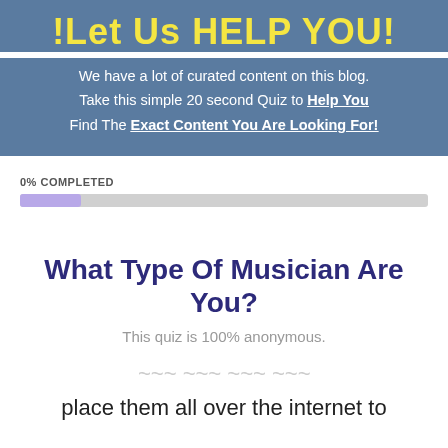!Let Us HELP YOU!
We have a lot of curated content on this blog. Take this simple 20 second Quiz to Help You Find The Exact Content You Are Looking For!
0% COMPLETED
[Figure (infographic): Progress bar showing 0% completed with a small purple-filled portion on the left]
What Type Of Musician Are You?
This quiz is 100% anonymous.
place them all over the internet to maximize your exposure as a